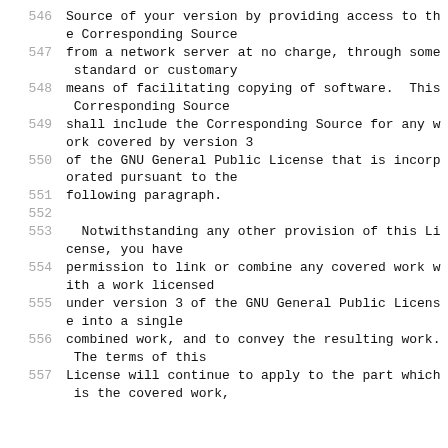546  Source of your version by providing access to the Corresponding Source
547  from a network server at no charge, through some standard or customary
548  means of facilitating copying of software.  This Corresponding Source
549  shall include the Corresponding Source for any work covered by version 3
550  of the GNU General Public License that is incorporated pursuant to the
551  following paragraph.
552
553    Notwithstanding any other provision of this License, you have
554  permission to link or combine any covered work with a work licensed
555  under version 3 of the GNU General Public License into a single
556  combined work, and to convey the resulting work. The terms of this
557  License will continue to apply to the part which is the covered work,